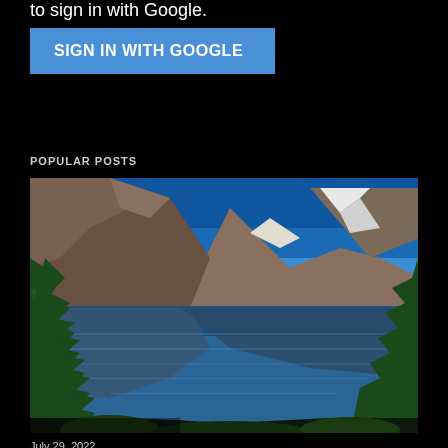to sign in with Google.
SIGN IN WITH GOOGLE
POPULAR POSTS
[Figure (photo): Mountain lake landscape with clear blue sky, rocky peaks with snow, evergreen trees on left and right, and perfect reflection of mountains in the still blue lake water below.]
July 29, 2022